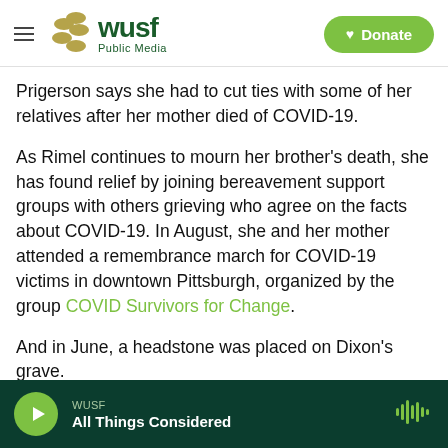WUSF Public Media | Donate
Prigerson says she had to cut ties with some of her relatives after her mother died of COVID-19.
As Rimel continues to mourn her brother's death, she has found relief by joining bereavement support groups with others grieving who agree on the facts about COVID-19. In August, she and her mother attended a remembrance march for COVID-19 victims in downtown Pittsburgh, organized by the group COVID Survivors for Change.
And in June, a headstone was placed on Dixon's grave.
WUSF — All Things Considered